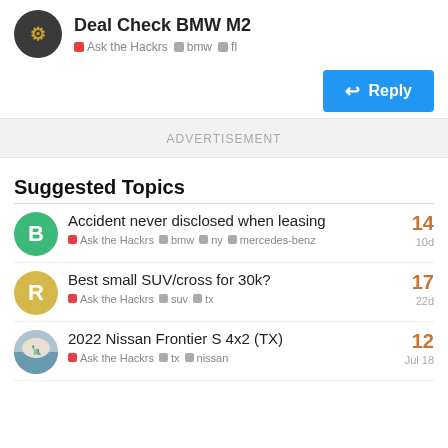Deal Check BMW M2 | Ask the Hackrs · bmw · fl
Reply
ADVERTISEMENT
Suggested Topics
Accident never disclosed when leasing | Ask the Hackrs · bmw · ny · mercedes-benz | 14 replies | 10d
Best small SUV/cross for 30k? | Ask the Hackrs · suv · tx | 17 replies | 22d
2022 Nissan Frontier S 4x2 (TX) | Ask the Hackrs · tx · nissan | 12 replies | Jul 18